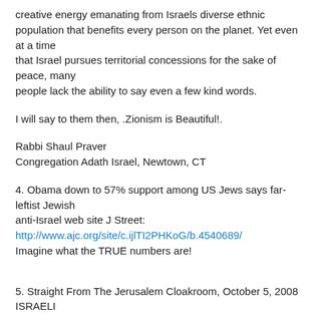creative energy emanating from Israels diverse ethnic population that benefits every person on the planet. Yet even at a time that Israel pursues territorial concessions for the sake of peace, many people lack the ability to say even a few kind words.
I will say to them then, .Zionism is Beautiful!.
Rabbi Shaul Praver
Congregation Adath Israel, Newtown, CT
4. Obama down to 57% support among US Jews says far-leftist Jewish anti-Israel web site J Street:
http://www.ajc.org/site/c.ijlTI2PHKoG/b.4540689/
Imagine what the TRUE numbers are!
5. Straight From The Jerusalem Cloakroom, October 5, 2008 ISRAELI PATRIOTISM & OPTIMISM